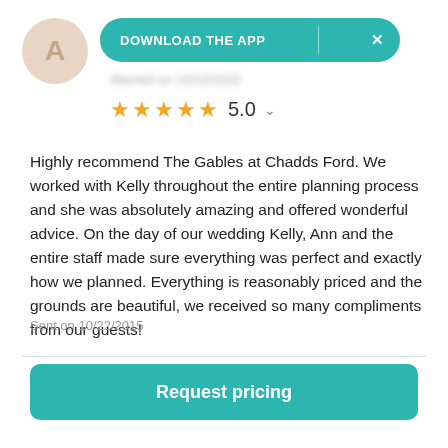[Figure (screenshot): Download the App banner — teal pill-shaped button with text DOWNLOAD THE APP and an X close button]
[Figure (illustration): User avatar circle with letter A on beige background]
Married on 10/10/2015
★★★★★  5.0
Highly recommend The Gables at Chadds Ford. We worked with Kelly throughout the entire planning process and she was absolutely amazing and offered wonderful advice. On the day of our wedding Kelly, Ann and the entire staff made sure everything was perfect and exactly how we planned. Everything is reasonably priced and the grounds are beautiful, we received so many compliments from our guests!
Sent on 10/22/2015
Request pricing